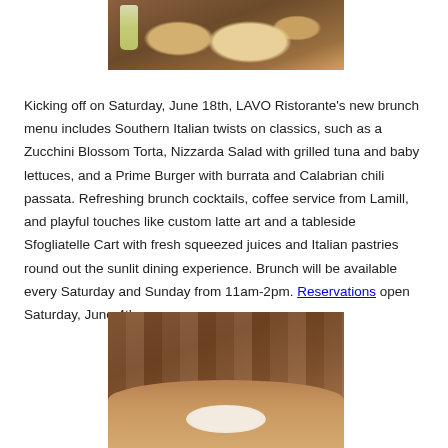[Figure (photo): Photo of pizzas on a table with a glass of white wine, restaurant setting with colorful decor in background]
Kicking off on Saturday, June 18th, LAVO Ristorante's new brunch menu includes Southern Italian twists on classics, such as a Zucchini Blossom Torta, Nizzarda Salad with grilled tuna and baby lettuces, and a Prime Burger with burrata and Calabrian chili passata. Refreshing brunch cocktails, coffee service from Lamill, and playful touches like custom latte art and a tableside Sfogliatelle Cart with fresh squeezed juices and Italian pastries round out the sunlit dining experience. Brunch will be available every Saturday and Sunday from 11am-2pm. Reservations open Saturday, June 4th.
[Figure (photo): Photo of a restaurant booth with tan/brown upholstered seating and a wooden table with a plate of food]